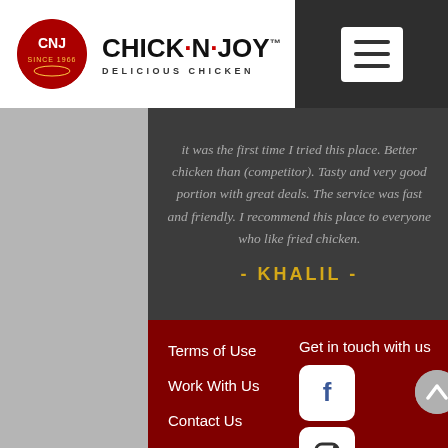[Figure (logo): Chick-N-Joy logo with CNJ circular emblem and text 'CHICK·N·JOY DELICIOUS CHICKEN']
It was the first time I tried this place. Better chicken than (competitor). Tasty and very good portion with great deals. The service was fast and friendly. I recommend this place to everyone who like fried chicken.
- KHALIL -
Terms of Use
Work With Us
Contact Us
Product Information
Get in touch with us
[Figure (illustration): Facebook icon - white F on white rounded-square background]
[Figure (illustration): Instagram icon - white camera outline on white rounded-square background]
[Figure (illustration): Twitter icon - white bird on white rounded-square background]